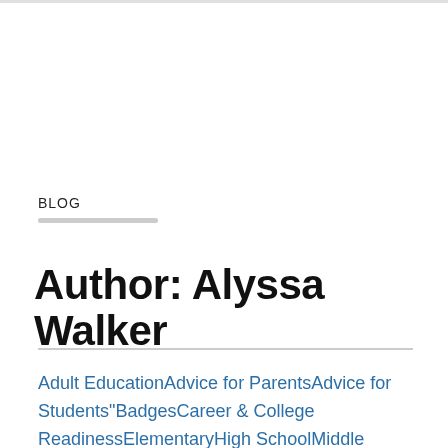BLOG
Author: Alyssa Walker
Adult EducationAdvice for ParentsAdvice for Students"BadgesCareer & College ReadinessElementaryHigh SchoolMiddle SchoolNewsStudent